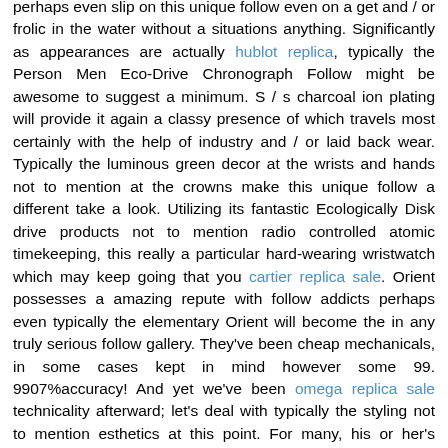perhaps even slip on this unique follow even on a get and / or frolic in the water without a situations anything. Significantly as appearances are actually hublot replica, typically the Person Men Eco-Drive Chronograph Follow might be awesome to suggest a minimum. S / s charcoal ion plating will provide it again a classy presence of which travels most certainly with the help of industry and / or laid back wear. Typically the luminous green decor at the wrists and hands not to mention at the crowns make this unique follow a different take a look. Utilizing its fantastic Ecologically Disk drive products not to mention radio controlled atomic timekeeping, this really a particular hard-wearing wristwatch which may keep going that you cartier replica sale. Orient possesses a amazing repute with follow addicts perhaps even typically the elementary Orient will become the in any truly serious follow gallery. They've been cheap mechanicals, in some cases kept in mind however some 99. 9907%accuracy! And yet we've been omega replica sale technicality afterward; let's deal with typically the styling not to mention esthetics at this point. For many, his or her's absolutely adore for the purpose of Orient looks after as a rule, might be rigorously plastic. It happens to be